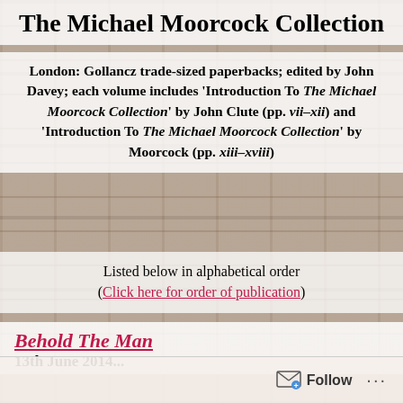The Michael Moorcock Collection
London: Gollancz trade-sized paperbacks; edited by John Davey; each volume includes 'Introduction To The Michael Moorcock Collection' by John Clute (pp. vii–xii) and 'Introduction To The Michael Moorcock Collection' by Moorcock (pp. xiii–xviii)
Listed below in alphabetical order (Click here for order of publication)
Behold The Man
Follow ...